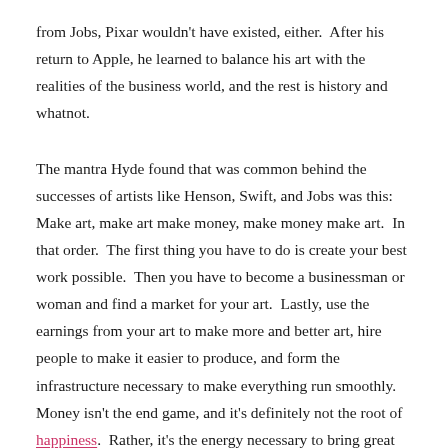from Jobs, Pixar wouldn't have existed, either.  After his return to Apple, he learned to balance his art with the realities of the business world, and the rest is history and whatnot.
The mantra Hyde found that was common behind the successes of artists like Henson, Swift, and Jobs was this:  Make art, make art make money, make money make art.  In that order.  The first thing you have to do is create your best work possible.  Then you have to become a businessman or woman and find a market for your art.  Lastly, use the earnings from your art to make more and better art, hire people to make it easier to produce, and form the infrastructure necessary to make everything run smoothly.  Money isn't the end game, and it's definitely not the root of happiness.  Rather, it's the energy necessary to bring great ideas to life.
You may not work in show business, but whatever your art, there is a